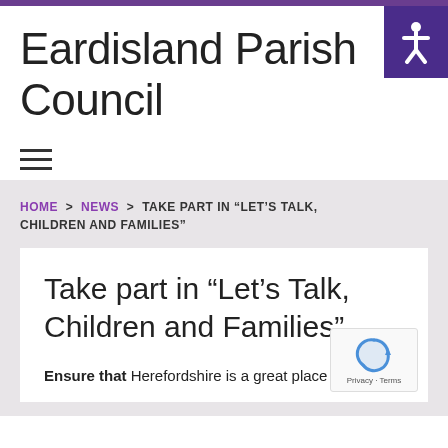Eardisland Parish Council
HOME > NEWS > TAKE PART IN “LET’S TALK, CHILDREN AND FAMILIES”
Take part in “Let’s Talk, Children and Families”
Ensure that Herefordshire is a great place for